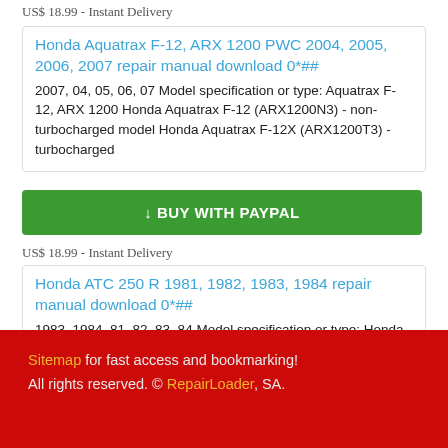US$ 18.99 - Instant Delivery (truncated at top)
Honda Aquatrax F-12, ARX 1200 PWC 2004, 2005, 2006, 2007 repair manual download 0*##
2007, 04, 05, 06, 07 Model specification or type: Aquatrax F-12, ARX 1200 Honda Aquatrax F-12 (ARX1200N3) - non-turbocharged model Honda Aquatrax F-12X (ARX1200T3) - turbocharged
[Figure (other): Green BUY WITH PAYPAL button]
US$ 18.99 - Instant Delivery
Honda ATC 250 R 1981, 1982, 1983, 1984 repair manual download 0*##
1983, 1984, 81, 82, 83, 84 Model specification or type: Honda ATC 250 R Serial number: all Manual format: PDF / e-book (zip) Manual Language:
Sitemap for fast access and bookmarking! All rights reserved. © RepairLoader, SA.